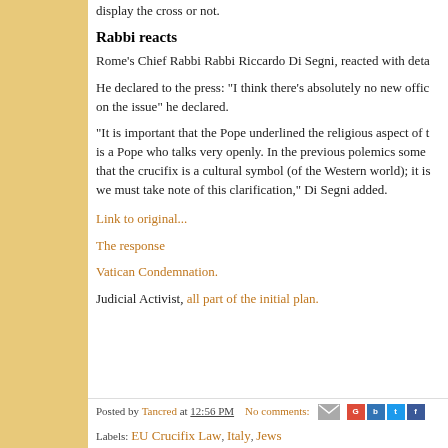display the cross or not.
Rabbi reacts
Rome's Chief Rabbi Rabbi Riccardo Di Segni, reacted with deta
He declared to the press: "I think there's absolutely no new offi on the issue" he declared.
"It is important that the Pope underlined the religious aspect of is a Pope who talks very openly. In the previous polemics some that the crucifix is a cultural symbol (of the Western world); it is we must take note of this clarification," Di Segni added.
Link to original...
The response
Vatican Condemnation.
Judicial Activist, all part of the initial plan.
Posted by Tancred at 12:56 PM   No comments:     Labels: EU Crucifix Law, Italy, Jews